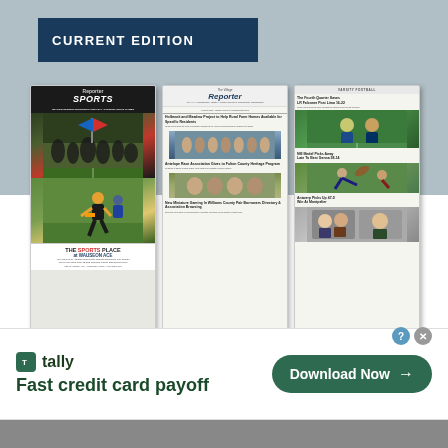CURRENT EDITION
[Figure (photo): Three newspaper front pages displayed side by side: left is a Sports edition of the Reporter with football photos and 'THE SPORTS PLACE' ad, center is The Village Reporter front page with photos and 'Proudly enhancing the health, safety and well-being of our community.' tagline, right is a sports section with football and other sports photos and headlines including 'The Fourth Quarter Saves LR Falconer Post Lima 16-22', 'NM Medef Picks Away Late To Best Genoa 38-14', 'Antwerp Picks Up 47-0 Win At Montpelier']
[Figure (infographic): Advertisement for Tally app - 'Fast credit card payoff' with green Download Now button and close/help icons in corner]